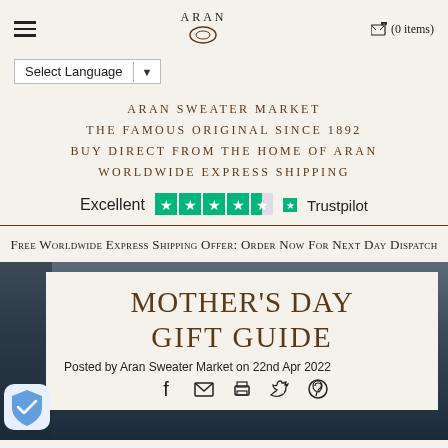ARAN | (0 items)
Select Language
ARAN SWEATER MARKET
THE FAMOUS ORIGINAL SINCE 1892
BUY DIRECT FROM THE HOME OF ARAN
WORLDWIDE EXPRESS SHIPPING
[Figure (logo): Trustpilot Excellent rating with 4.5 stars]
Free Worldwide Express Shipping Offer: Order Now For Next Day Dispatch
MOTHER'S DAY
GIFT GUIDE
Posted by Aran Sweater Market on 22nd Apr 2022
[Figure (infographic): Social share icons: Facebook, Email, Print, Twitter, Pinterest]